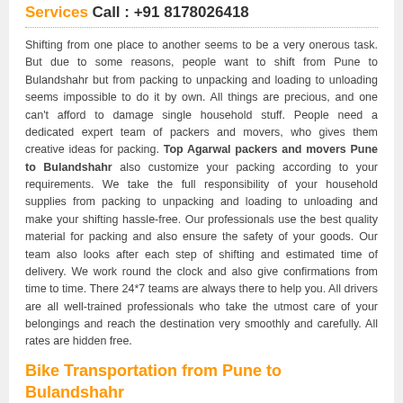Services Call : +91 8178026418
Shifting from one place to another seems to be a very onerous task. But due to some reasons, people want to shift from Pune to Bulandshahr but from packing to unpacking and loading to unloading seems impossible to do it by own. All things are precious, and one can't afford to damage single household stuff. People need a dedicated expert team of packers and movers, who gives them creative ideas for packing. Top Agarwal packers and movers Pune to Bulandshahr also customize your packing according to your requirements. We take the full responsibility of your household supplies from packing to unpacking and loading to unloading and make your shifting hassle-free. Our professionals use the best quality material for packing and also ensure the safety of your goods. Our team also looks after each step of shifting and estimated time of delivery. We work round the clock and also give confirmations from time to time. There 24*7 teams are always there to help you. All drivers are all well-trained professionals who take the utmost care of your belongings and reach the destination very smoothly and carefully. All rates are hidden free.
Bike Transportation from Pune to Bulandshahr
Transportation of bikes requires the utmost safety and care. Most of